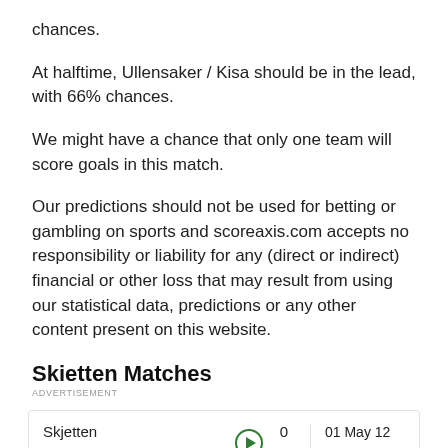chances.
At halftime, Ullensaker / Kisa should be in the lead, with 66% chances.
We might have a chance that only one team will score goals in this match.
Our predictions should not be used for betting or gambling on sports and scoreaxis.com accepts no responsibility or liability for any (direct or indirect) financial or other loss that may result from using our statistical data, predictions or any other content present on this website.
Skietten Matches
| Team | Score | Date | Status |
| --- | --- | --- | --- |
| Skjetten | 0 | 01 May 12 |  |
| Lillestrøm | 8 |  | FT |